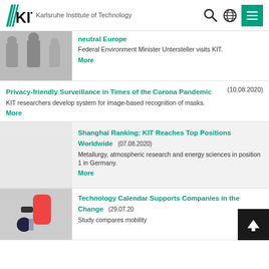KIT – Karlsruhe Institute of Technology
[Figure (photo): Photo of people outdoors, Federal Environment Minister Untersteller visiting KIT]
neutral Europe
Federal Environment Minister Untersteller visits KIT.
More
Privacy-friendly Surveillance in Times of the Corona Pandemic (10.08.2020)
KIT researchers develop system for image-based recognition of masks.
More
[Figure (photo): Gray placeholder area for Shanghai Ranking news item]
Shanghai Ranking: KIT Reaches Top Positions Worldwide (07.08.2020)
Metallurgy, atmospheric research and energy sciences in position 1 in Germany.
More
[Figure (photo): Photo of person plugging in an electric vehicle charger]
Technology Calendar Supports Companies in the Change (29.07.20...)
Study compares mobility...